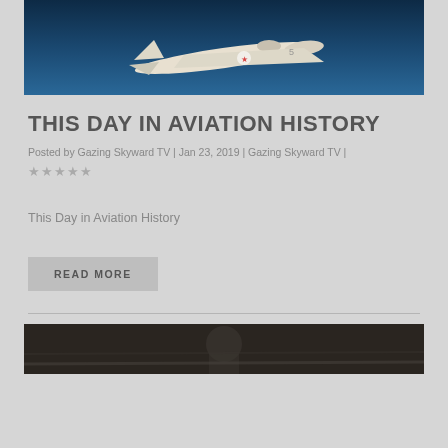[Figure (photo): Military aircraft (likely US Navy) photographed from below against a blue sky background]
THIS DAY IN AVIATION HISTORY
Posted by Gazing Skyward TV | Jan 23, 2019 | Gazing Skyward TV | ★★★★★
This Day in Aviation History
READ MORE
[Figure (photo): Black and white photograph of a person near an aircraft, partially visible at bottom of page]